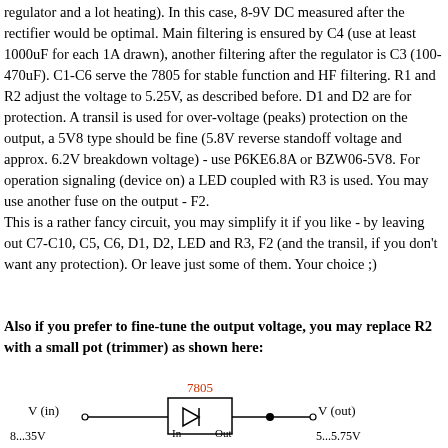regulator and a lot heating). In this case, 8-9V DC measured after the rectifier would be optimal. Main filtering is ensured by C4 (use at least 1000uF for each 1A drawn), another filtering after the regulator is C3 (100-470uF). C1-C6 serve the 7805 for stable function and HF filtering. R1 and R2 adjust the voltage to 5.25V, as described before. D1 and D2 are for protection. A transil is used for over-voltage (peaks) protection on the output, a 5V8 type should be fine (5.8V reverse standoff voltage and approx. 6.2V breakdown voltage) - use P6KE6.8A or BZW06-5V8. For operation signaling (device on) a LED coupled with R3 is used. You may use another fuse on the output - F2.
This is a rather fancy circuit, you may simplify it if you like - by leaving out C7-C10, C5, C6, D1, D2, LED and R3, F2 (and the transil, if you don't want any protection). Or leave just some of them. Your choice ;)
Also if you prefer to fine-tune the output voltage, you may replace R2 with a small pot (trimmer) as shown here:
[Figure (schematic): Circuit schematic showing a 7805 voltage regulator with V(in) 8-35V input on the left connected to In pin, and V(out) 5-5.75V output on the right from Out pin, with a diode symbol inside the regulator block.]